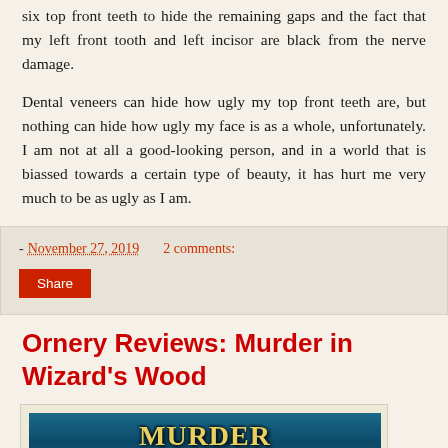six top front teeth to hide the remaining gaps and the fact that my left front tooth and left incisor are black from the nerve damage.
Dental veneers can hide how ugly my top front teeth are, but nothing can hide how ugly my face is as a whole, unfortunately. I am not at all a good-looking person, and in a world that is biassed towards a certain type of beauty, it has hurt me very much to be as ugly as I am.
- November 27, 2019    2 comments:
Share
Ornery Reviews: Murder in Wizard's Wood
[Figure (photo): Book cover for 'Murder in Wizard's Wood' showing stylized golden text on a dark blue/teal background]